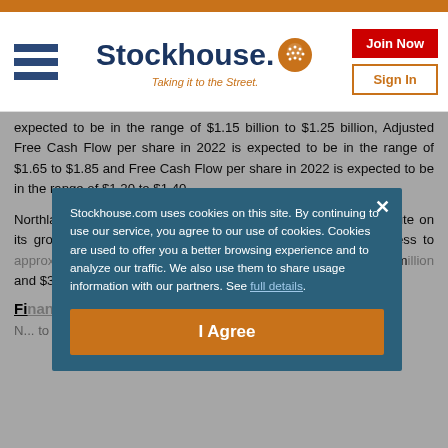Stockhouse — Taking it to the Street.
expected to be in the range of $1.15 billion to $1.25 billion, Adjusted Free Cash Flow per share in 2022 is expected to be in the range of $1.65 to $1.85 and Free Cash Flow per share in 2022 is expected to be in the range of $1.20 to $1.40.
Northland continues to have sufficient liquidity available to execute on its growth objectives. As at May 10, 2022, Northland had access to approximately $1 billion of available liquidity, consisting of $390 million in cash and cash equivalents on hand and approximately $390 million ... and $3...
Fi...
N... to di... by N... al
Stockhouse.com uses cookies on this site. By continuing to use our service, you agree to our use of cookies. Cookies are used to offer you a better browsing experience and to analyze our traffic. We also use them to share usage information with our partners. See full details.